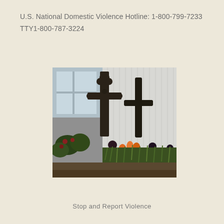U.S. National Domestic Violence Hotline: 1-800-799-7233
TTY1-800-787-3224
[Figure (photo): Two dark iron crosses standing in a flower garden with orange and purple flowers and green plants, against a white corrugated metal wall background.]
Stop and Report Violence